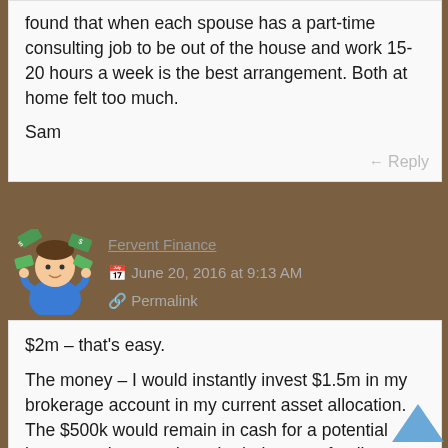found that when each spouse has a part-time consulting job to be out of the house and work 15-20 hours a week is the best arrangement. Both at home felt too much.
Sam
Reply
[Figure (illustration): Cartoon avatar of a man in a blue shirt holding cash/money]
Fervent Finance
June 20, 2016 at 9:13 AM
Permalink
$2m – that's easy.
The money – I would instantly invest $1.5m in my brokerage account in my current asset allocation. The $500k would remain in cash for a potential home purchase and maybe help some family